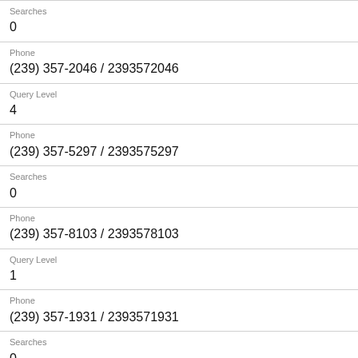Searches
0
Phone
(239) 357-2046 / 2393572046
Query Level
4
Phone
(239) 357-5297 / 2393575297
Searches
0
Phone
(239) 357-8103 / 2393578103
Query Level
1
Phone
(239) 357-1931 / 2393571931
Searches
0